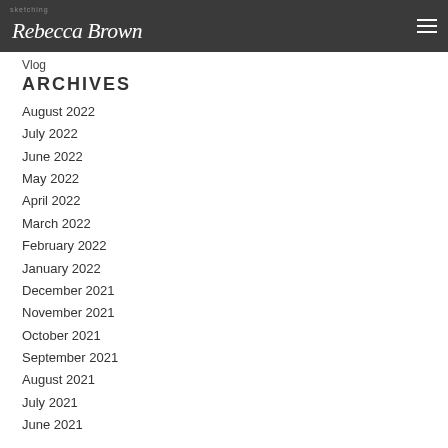Sketching — Rebecca Brown
Vlog
ARCHIVES
August 2022
July 2022
June 2022
May 2022
April 2022
March 2022
February 2022
January 2022
December 2021
November 2021
October 2021
September 2021
August 2021
July 2021
June 2021